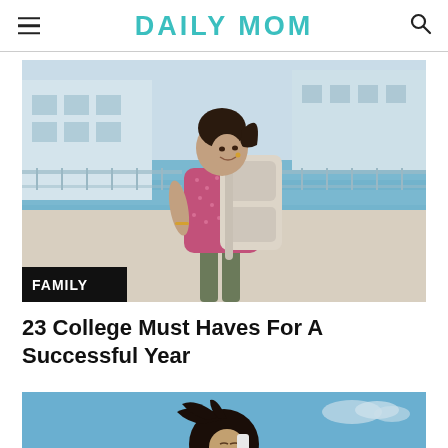DAILY MOM
[Figure (photo): Woman smiling over her shoulder wearing a pink patterned top and carrying a large light grey backpack, standing near a pool/waterfront area with glass railings]
FAMILY
23 College Must Haves For A Successful Year
[Figure (photo): Woman with curly dark hair outdoors against a blue sky background, partial view]